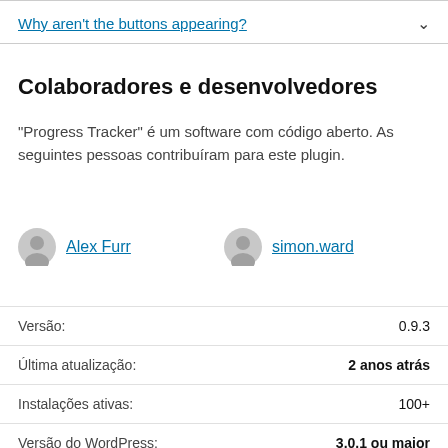Why aren't the buttons appearing?
Colaboradores e desenvolvedores
“Progress Tracker” é um software com código aberto. As seguintes pessoas contribuíram para este plugin.
Alex Furr  simon.ward
| Label | Value |
| --- | --- |
| Versão: | 0.9.3 |
| Última atualização: | 2 anos atrás |
| Instalações ativas: | 100+ |
| Versão do WordPress: | 3.0.1 ou maior |